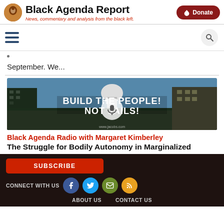Black Agenda Report — News, commentary and analysis from the black left.
September. We...
[Figure (photo): Protest crowd in front of a capitol building with banner reading 'BUILD THE PEOPLE! NOT JAILS!' and a play button overlay indicating a podcast/radio episode]
Black Agenda Radio with Margaret Kimberley
The Struggle for Bodily Autonomy in Marginalized
SUBSCRIBE | CONNECT WITH US | ABOUT US | CONTACT US